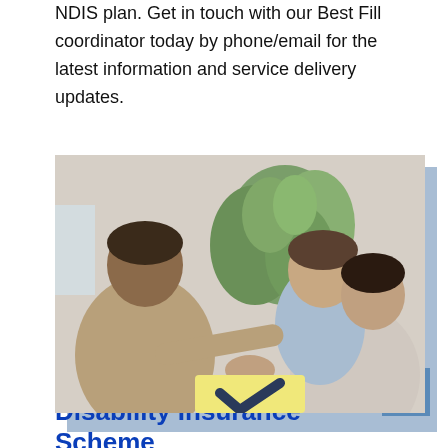NDIS plan. Get in touch with our Best Fill coordinator today by phone/email for the latest information and service delivery updates.
[Figure (photo): A therapist or coordinator sitting across from a smiling young boy and his mother, engaging in a hands-on activity with building blocks or a toy, with indoor plants in the background.]
What Is The National Disability Insurance Scheme